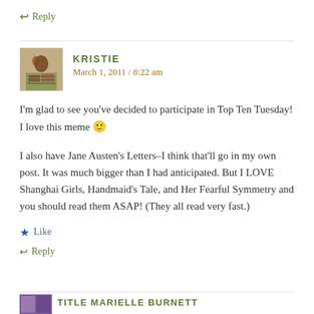↩ Reply
KRISTIE
March 1, 2011 / 8:22 am
I'm glad to see you've decided to participate in Top Ten Tuesday! I love this meme 🙂
I also have Jane Austen's Letters–I think that'll go in my own post. It was much bigger than I had anticipated. But I LOVE Shanghai Girls, Handmaid's Tale, and Her Fearful Symmetry and you should read them ASAP! (They all read very fast.)
★ Like
↩ Reply